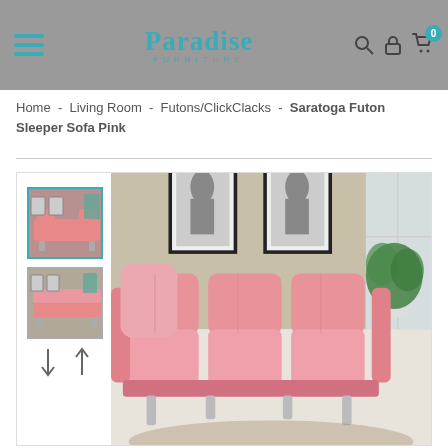Paradise Furniture - navigation header with hamburger menu, logo, search, account, and cart icons
Home - Living Room - Futons/ClickClacks - Saratoga Futon Sleeper Sofa Pink
[Figure (photo): Product page showing a pink Saratoga Futon Sleeper Sofa with two thumbnail images on the left and a large main product photo on the right showing the pink sofa in a room setting with framed art on the wall and potted plants]